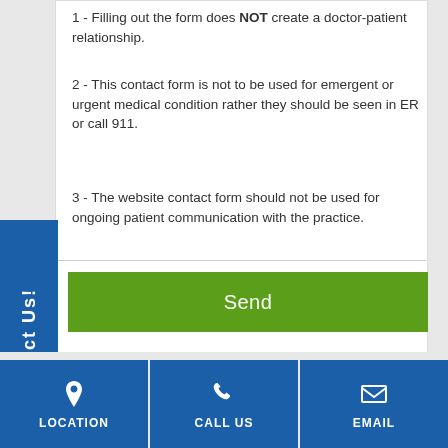1 - Filling out the form does NOT create a doctor-patient relationship.
2 - This contact form is not to be used for emergent or urgent medical condition rather they should be seen in ER or call 911.
3 - The website contact form should not be used for ongoing patient communication with the practice.
Send
What are you looking for?
LOCATION | CALL US | EMAIL